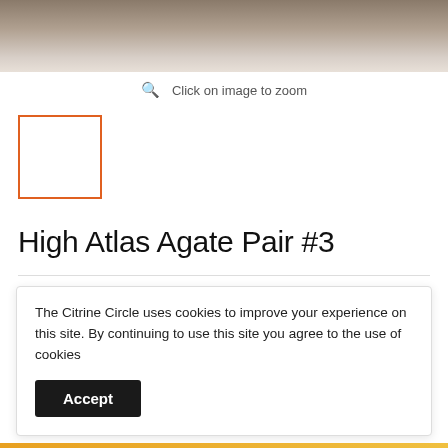[Figure (photo): Top portion of a product photo showing stones/agate on a wooden surface, cropped at the top of the page]
Click on image to zoom
[Figure (photo): Small thumbnail image box with orange border, currently selected/active]
High Atlas Agate Pair #3
Price: £34.99
The Citrine Circle uses cookies to improve your experience on this site. By continuing to use this site you agree to the use of cookies
Accept